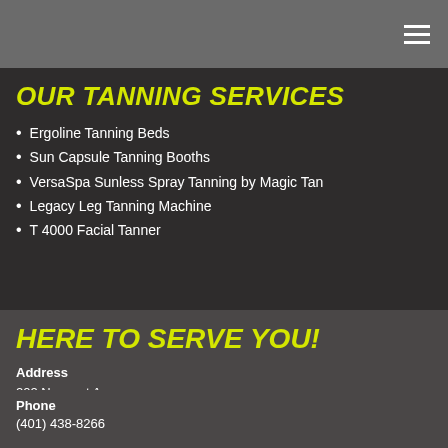OUR TANNING SERVICES
Ergoline Tanning Beds
Sun Capsule Tanning Booths
VersaSpa Sunless Spray Tanning by Magic Tan
Legacy Leg Tanning Machine
T 4000 Facial Tanner
HERE TO SERVE YOU!
Address
202 Newport Avenue
Rumford, RI 02916
Phone
(401) 438-8266